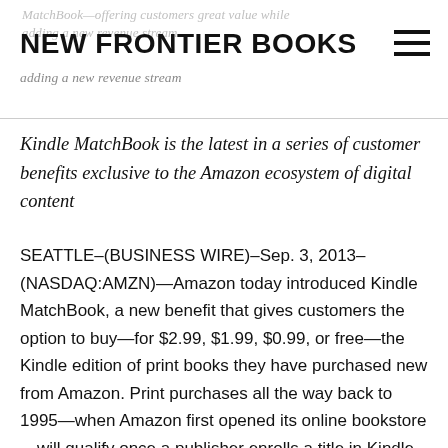MatchBook—offering customers great value while adding a new revenue stream
NEW FRONTIER BOOKS
Kindle MatchBook is the latest in a series of customer benefits exclusive to the Amazon ecosystem of digital content
SEATTLE–(BUSINESS WIRE)–Sep. 3, 2013–(NASDAQ:AMZN)—Amazon today introduced Kindle MatchBook, a new benefit that gives customers the option to buy—for $2.99, $1.99, $0.99, or free—the Kindle edition of print books they have purchased new from Amazon. Print purchases all the way back to 1995—when Amazon first opened its online bookstore—will qualify once a publisher enrolls a title in Kindle MatchBook. Over 10,000 books will